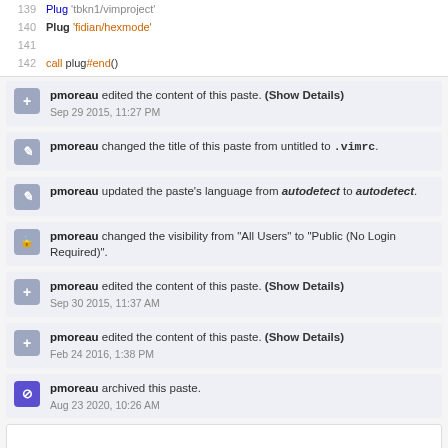[Figure (screenshot): Code snippet showing lines 139-142 of a vim config file with Plug commands]
pmoreau edited the content of this paste. (Show Details) Sep 29 2015, 11:27 PM
pmoreau changed the title of this paste from untitled to .vimrc.
pmoreau updated the paste's language from autodetect to autodetect.
pmoreau changed the visibility from "All Users" to "Public (No Login Required)".
pmoreau edited the content of this paste. (Show Details) Sep 30 2015, 11:37 AM
pmoreau edited the content of this paste. (Show Details) Feb 24 2016, 1:38 PM
pmoreau archived this paste. Aug 23 2020, 10:26 AM